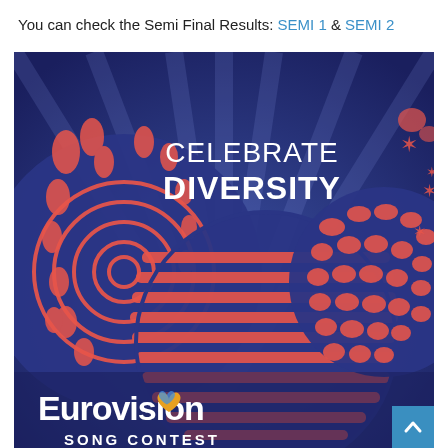You can check the Semi Final Results: SEMI 1 & SEMI 2
[Figure (photo): Eurovision Song Contest promotional image with 'Celebrate Diversity' text on a dark blue background with red/coral decorative sphere patterns. The Eurovision logo with a heart shape and Ukrainian flag colors is visible at the bottom.]